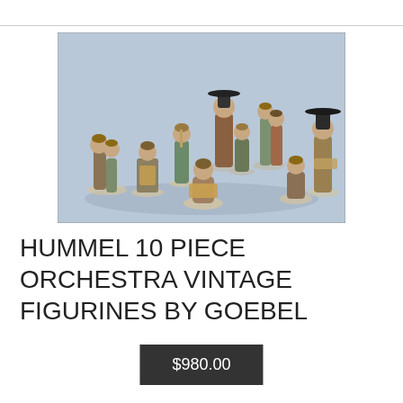[Figure (photo): A collection of Hummel ceramic figurines arranged in a group on a light blue background. The figurines depict children playing various musical instruments, forming a miniature orchestra scene. Approximately 10-12 figurines in earthy tones of brown, green, and cream.]
HUMMEL 10 PIECE ORCHESTRA VINTAGE FIGURINES BY GOEBEL
$980.00